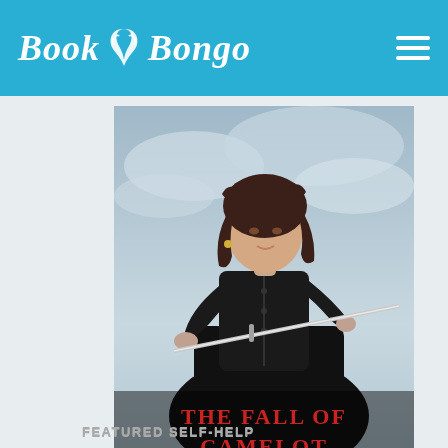Book Bongo
[Figure (photo): Book cover for 'The Fall of Camelot' showing a woman in black dress holding a sword against a dramatic cloudy sky background]
A thrilling and dramatic finale to a fascinating Arthurian trilogy. FREE on Kindle!
FEATURED SELF-HELP